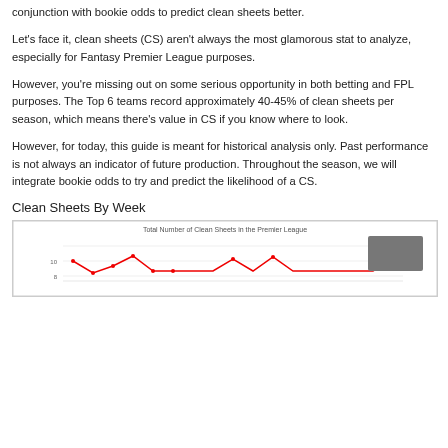conjunction with bookie odds to predict clean sheets better.
Let's face it, clean sheets (CS) aren't always the most glamorous stat to analyze, especially for Fantasy Premier League purposes.
However, you're missing out on some serious opportunity in both betting and FPL purposes. The Top 6 teams record approximately 40-45% of clean sheets per season, which means there's value in CS if you know where to look.
However, for today, this guide is meant for historical analysis only. Past performance is not always an indicator of future production. Throughout the season, we will integrate bookie odds to try and predict the likelihood of a CS.
Clean Sheets By Week
[Figure (line-chart): Line chart showing total number of clean sheets by week in the Premier League, with a red line and data points. Y-axis shows values around 8-10. A grey legend box is visible in the top right.]